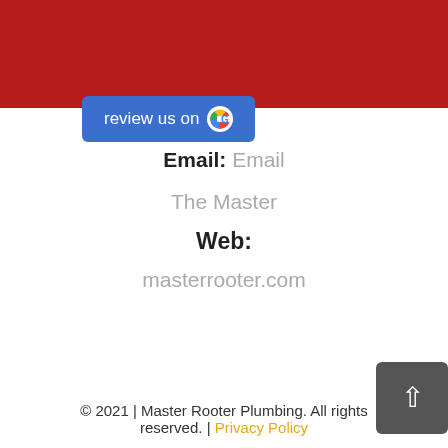Menu ≡
[Figure (illustration): Blue 'review us on Google' button with Google G logo]
Email: Email
The Master
Web:
masterrooter.com
© 2021 | Master Rooter Plumbing. All rights reserved. | Privacy Policy